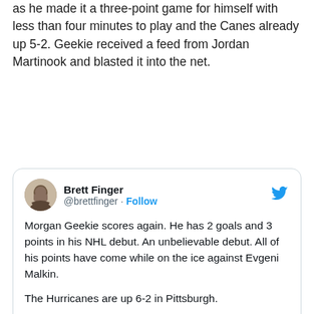as he made it a three-point game for himself with less than four minutes to play and the Canes already up 5-2. Geekie received a feed from Jordan Martinook and blasted it into the net.
[Figure (screenshot): Embedded tweet from @brettfinger (Brett Finger) with text: 'Morgan Geekie scores again. He has 2 goals and 3 points in his NHL debut. An unbelievable debut. All of his points have come while on the ice against Evgeni Malkin. The Hurricanes are up 6-2 in Pittsburgh.' with a Watch on Twitter video thumbnail of a hockey game.]